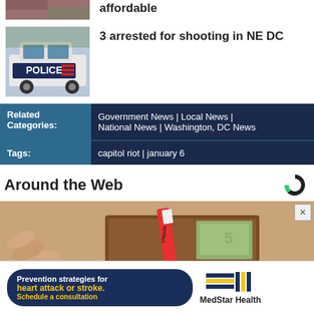[Figure (photo): Partial thumbnail of a news article about affordable housing]
affordable
[Figure (photo): Photo of a DC Police car door with POLICE text and logo]
3 arrested for shooting in NE DC
Related Categories: Government News | Local News | National News | Washington, DC News
Tags: capitol riot | january 6
Around the Web
[Figure (logo): Circular logo with C shape in green and black]
[Figure (photo): Close-up photo of a hand holding a wallet with a Crayola crayon]
[Figure (photo): MedStar Health advertisement: Prevention strategies for heart attack or stroke]